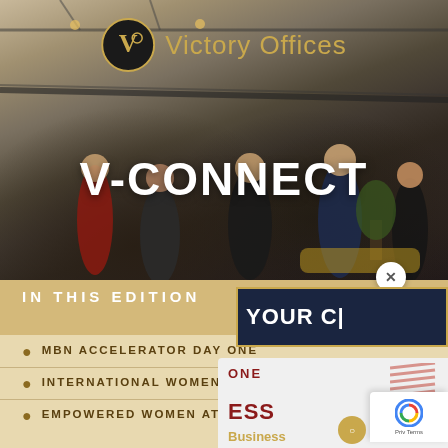[Figure (photo): Background photo of a modern office/co-working space with people networking, dark ambient lighting with industrial ceiling]
[Figure (logo): Victory Offices logo — circular gold emblem with 'V' monogram and wordmark 'Victory Offices' in gold]
V-CONNECT
IN THIS EDITION
MBN ACCELERATOR DAY ONE
INTERNATIONAL WOMENS DAY
EMPOWERED WOMEN AT